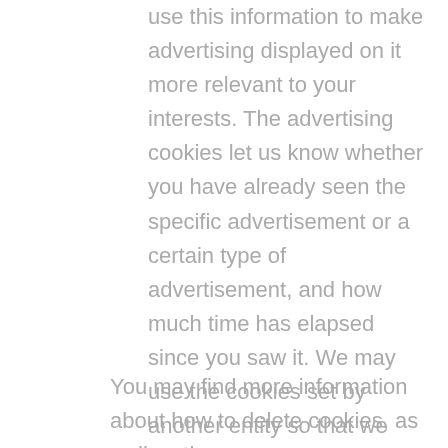use this information to make advertising displayed on it more relevant to your interests. The advertising cookies let us know whether you have already seen the specific advertisement or a certain type of advertisement, and how much time has elapsed since you saw it. We may use the cookies set by another entity so that we could provide the advertisement oriented more specifically to you. They are also used so that we could see certain advertisements only a certain number of times and that it would help to measure the efficiency of advertising.
You may find more information about how to delete cookies, as well as the